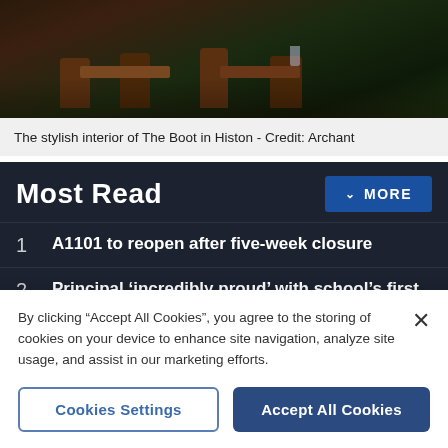[Figure (photo): Interior of The Boot pub in Histon showing wooden chairs and tables in a dim, atmospheric setting]
The stylish interior of The Boot in Histon - Credit: Archant
Most Read
1  A1101 to reopen after five-week closure
2  Principal 'incredibly proud' with school's first GCSE results
3  Couple 'very lucky' after 45-acre field fire comes
By clicking “Accept All Cookies”, you agree to the storing of cookies on your device to enhance site navigation, analyze site usage, and assist in our marketing efforts.